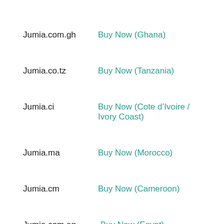Jumia.com.gh    Buy Now (Ghana)
Jumia.co.tz    Buy Now (Tanzania)
Jumia.ci    Buy Now (Cote d’Ivoire / Ivory Coast)
Jumia.ma    Buy Now (Morocco)
Jumia.cm    Buy Now (Cameroon)
Jumia.com.eg    Buy Now (Egypt)
GearBest    Buy Now (International, Search for the Device)
Aliexpress    Buy Now (International, Search for the